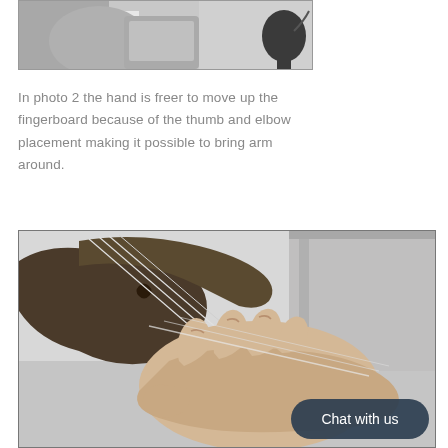[Figure (photo): Black and white photo (partial, cropped at top) showing a person holding a string instrument, with a microphone visible on the right side.]
In photo 2 the hand is freer to move up the fingerboard because of the thumb and elbow placement making it possible to bring arm around.
[Figure (photo): Black and white close-up photo of a hand fingering the strings on a violin or cello fingerboard, with a 'Chat with us' button overlay in the lower right.]